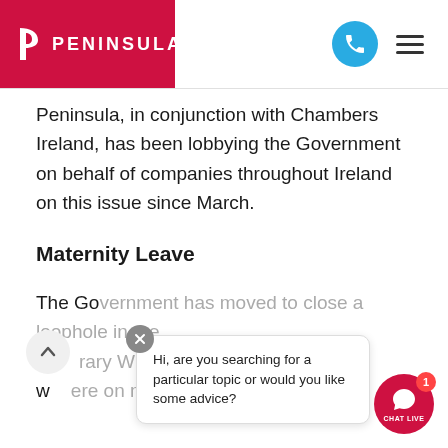[Figure (logo): Peninsula logo — red background rectangle with white P icon and PENINSULA text in white]
Peninsula, in conjunction with Chambers Ireland, has been lobbying the Government on behalf of companies throughout Ireland on this issue since March.
Maternity Leave
The Government has moved to close a loophole in the T[emporary W]age Subsidy Scheme... [text partially obscured by chat widget]
[Figure (screenshot): Chat widget overlay showing a close (X) button, a chat bubble saying 'Hi, are you searching for a particular topic or would you like some advice?', and a red CHAT LIVE button with a notification badge of 1]